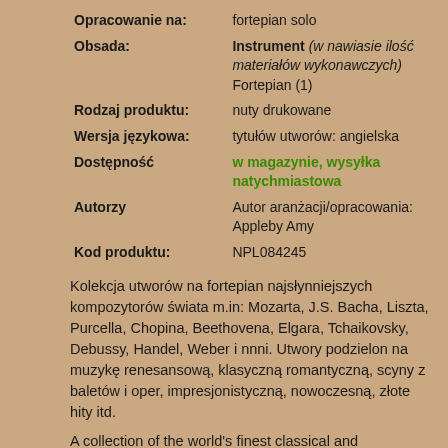| Opracowanie na: | fortepian solo |
| Obsada: | Instrument (w nawiasie ilość materiałów wykonawczych)
Fortepian (1) |
| Rodzaj produktu: | nuty drukowane |
| Wersja językowa: | tytułów utworów: angielska |
| Dostępność | w magazynie, wysyłka natychmiastowa |
| Autorzy | Autor aranżacji/opracowania: Appleby Amy |
| Kod produktu: | NPL084245 |
Kolekcja utworów na fortepian najsłynniejszych kompozytorów świata m.in: Mozarta, J.S. Bacha, Liszta, Purcella, Chopina, Beethovena, Elgara, Tchaikovsky, Debussy, Handel, Weber i nnni. Utwory podzielon na muzykę renesansową, klasyczną romantyczną, scyny z baletów i oper, impresjonistyczną, nowoczesną, złote hity itd.
A collection of the world's finest classical and contemporary Piano. However, will find the